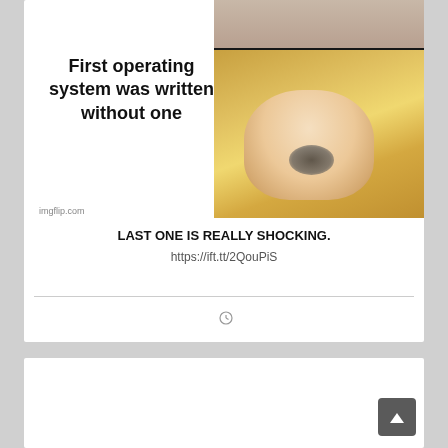[Figure (photo): Meme image showing a person looking shocked/surprised with mouth open, tilted head back. Left side has bold text reading 'First operating system was written without one'. Bottom-left has imgflip.com watermark.]
LAST ONE IS REALLY SHOCKING.
https://ift.tt/2QouPiS